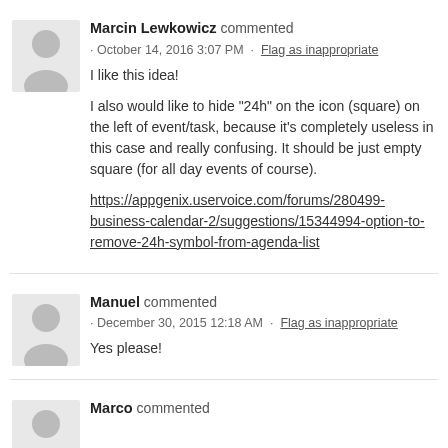[Figure (illustration): User avatar placeholder for Marcin Lewkowicz - grey silhouette icon]
Marcin Lewkowicz commented · October 14, 2016 3:07 PM · Flag as inappropriate
I like this idea!

I also would like to hide "24h" on the icon (square) on the left of event/task, because it's completely useless in this case and really confusing. It should be just empty square (for all day events of course).

https://appgenix.uservoice.com/forums/280499-business-calendar-2/suggestions/15344994-option-to-remove-24h-symbol-from-agenda-list
[Figure (illustration): User avatar placeholder for Manuel - grey silhouette icon]
Manuel commented · December 30, 2015 12:18 AM · Flag as inappropriate
Yes please!
[Figure (illustration): User avatar placeholder for Marco - grey silhouette icon]
Marco commented